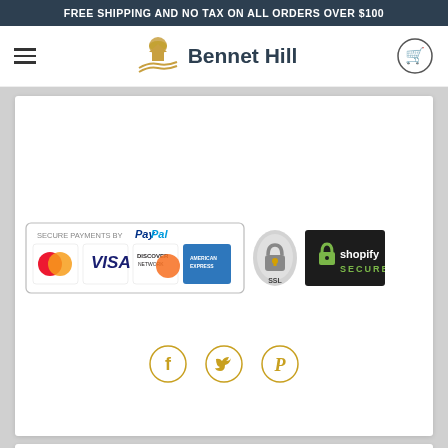FREE SHIPPING AND NO TAX ON ALL ORDERS OVER $100
[Figure (logo): Bennet Hill logo with farm/field icon and navigation bar including hamburger menu and cart icon]
[Figure (infographic): Secure payments by PayPal badge showing MasterCard, Visa, Discover, American Express cards; SSL secure badge; Shopify Secure badge]
[Figure (infographic): Social media icons: Facebook, Twitter, Pinterest in gold/yellow circle outlines]